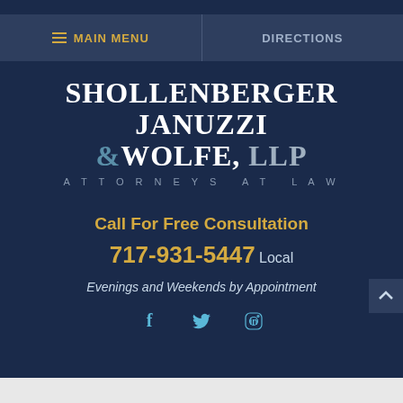MAIN MENU   DIRECTIONS
SHOLLENBERGER JANUZZI & WOLFE, LLP ATTORNEYS AT LAW
Call For Free Consultation
717-931-5447 Local
Evenings and Weekends by Appointment
[Figure (illustration): Social media icons: Facebook (f), Twitter bird, LinkedIn (in)]